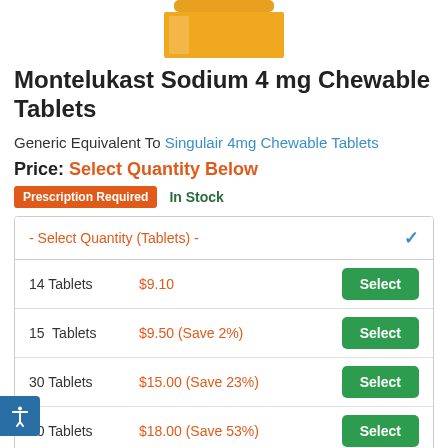[Figure (photo): Orange prescription medicine bottle partial image at top of page]
Montelukast Sodium 4 mg Chewable Tablets
Generic Equivalent To Singulair 4mg Chewable Tablets
Price: Select Quantity Below
Prescription Required   In Stock
| Quantity | Price | Action |
| --- | --- | --- |
| 14 Tablets | $9.10 | Select |
| 15 Tablets | $9.50 (Save 2%) | Select |
| 30 Tablets | $15.00 (Save 23%) | Select |
| 60 Tablets | $18.00 (Save 53%) | Select |
| 90 Tablets | $22.50 (Save 61%) | Select |